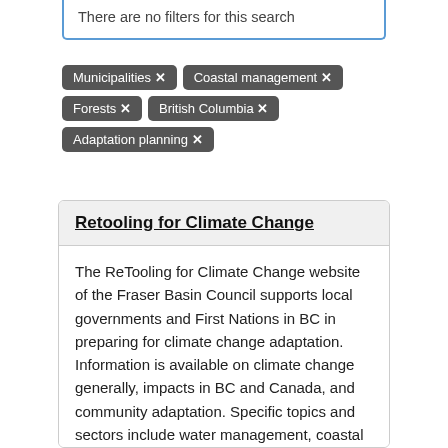There are no filters for this search
Municipalities ✕
Coastal management ✕
Forests ✕
British Columbia ✕
Adaptation planning ✕
Retooling for Climate Change
The ReTooling for Climate Change website of the Fraser Basin Council supports local governments and First Nations in BC in preparing for climate change adaptation. Information is available on climate change generally, impacts in BC and Canada, and community adaptation. Specific topics and sectors include water management, coastal management, hazard management, infrastructure, agriculture, environmentally